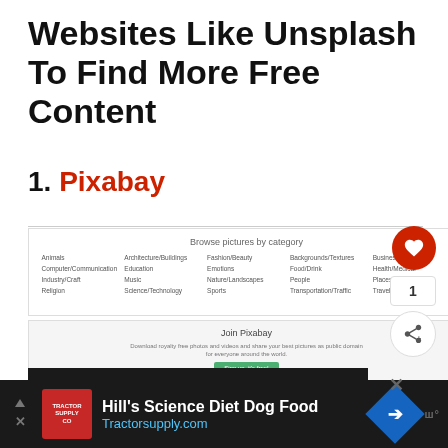Websites Like Unsplash To Find More Free Content
1. Pixabay
[Figure (screenshot): Screenshot of Pixabay website showing 'Browse pictures by category' section with a grid of categories including Animals, Architecture/Buildings, Fashion/Beauty, Backgrounds/Textures, Business/Finance, Computer/Communication, Education, Emotions, Food/Drink, Health/Medical, Industry/Craft, Music, Nature/Landscapes, People, Places/Monuments, Religion, Science/Technology, Sports, Transportation/Traffic, Travel/Vacation]
[Figure (screenshot): Screenshot of Pixabay 'Join Pixabay' section with text 'Download royalty free photos and videos and share your best pictures as public domain for everyone around the world.' and a green 'Sign up, it's free!' button, plus footer links]
[Figure (photo): Partial view of a dark image with decorative text reading 'IOOVE']
[Figure (screenshot): Advertisement banner for Hill's Science Diet Dog Food at Tractorsupply.com with dark background, red logo, blue diamond arrow icon]